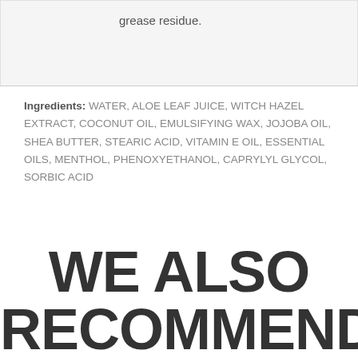grease residue.
Ingredients: WATER, ALOE LEAF JUICE, WITCH HAZEL EXTRACT, COCONUT OIL, EMULSIFYING WAX, JOJOBA OIL, SHEA BUTTER, STEARIC ACID, VITAMIN E OIL, ESSENTIAL OILS, MENTHOL, PHENOXYETHANOL, CAPRYLYL GLYCOL, SORBIC ACID
WE ALSO RECOMMEND